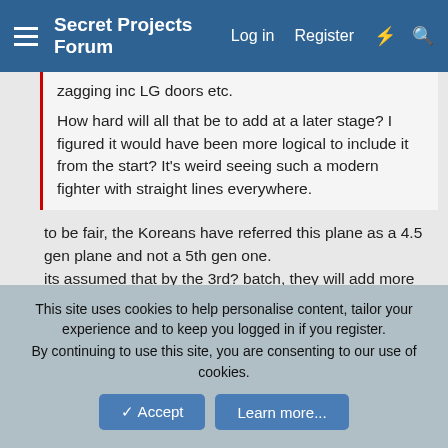Secret Projects Forum  Log in  Register
zagging inc LG doors etc.

How hard will all that be to add at a later stage? I figured it would have been more logical to include it from the start? It's weird seeing such a modern fighter with straight lines everywhere.
to be fair, the Koreans have referred this plane as a 4.5 gen plane and not a 5th gen one.
its assumed that by the 3rd? batch, they will add more VLO features and incorporate the internal weapons bay (the space is already there, its just covered up by a semi-recessed missile panel).

IRC.. the Rafale prototype didn't have some zig zags, but later versions added serrated edges along the intake, canards, etc.
I think some later versions of the MiG-29 also added them too.
This site uses cookies to help personalise content, tailor your experience and to keep you logged in if you register.
By continuing to use this site, you are consenting to our use of cookies.